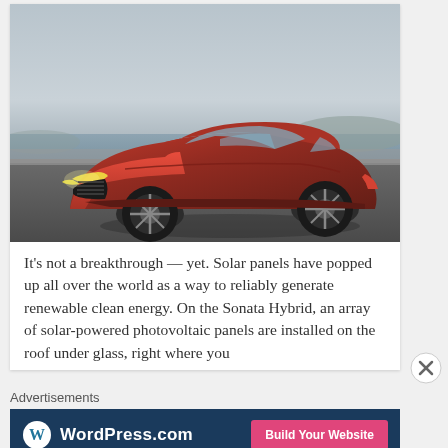[Figure (photo): A red Hyundai Sonata Hybrid sedan driving on a coastal road at dusk, with ocean and hills in the background.]
It's not a breakthrough — yet. Solar panels have popped up all over the world as a way to reliably generate renewable clean energy. On the Sonata Hybrid, an array of solar-powered photovoltaic panels are installed on the roof under glass, right where you
Advertisements
[Figure (screenshot): WordPress.com advertisement banner with logo and 'Build Your Website' button.]